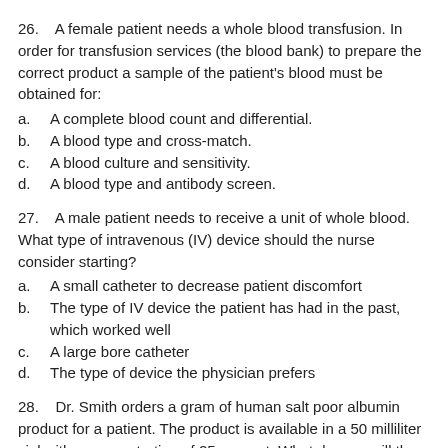26.    A female patient needs a whole blood transfusion. In order for transfusion services (the blood bank) to prepare the correct product a sample of the patient's blood must be obtained for:
a.    A complete blood count and differential.
b.    A blood type and cross-match.
c.    A blood culture and sensitivity.
d.    A blood type and antibody screen.
27.    A male patient needs to receive a unit of whole blood. What type of intravenous (IV) device should the nurse consider starting?
a.    A small catheter to decrease patient discomfort
b.    The type of IV device the patient has had in the past, which worked well
c.    A large bore catheter
d.    The type of device the physician prefers
28.    Dr. Smith orders a gram of human salt poor albumin product for a patient. The product is available in a 50 milliliter vial with a concentration of 25 percent. What dosage will the nurse administer?
a.    The nurse should use the entire 50 milliliter vial